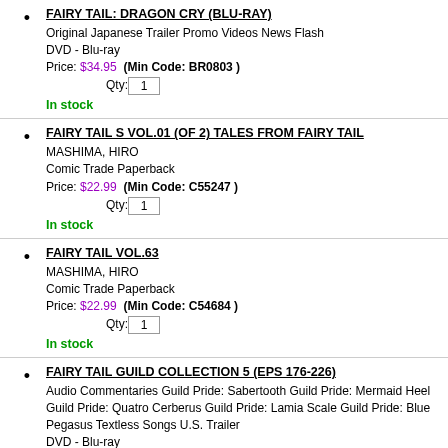FAIRY TAIL: DRAGON CRY (BLU-RAY) — Original Japanese Trailer Promo Videos News Flash — DVD - Blu-ray — Price: $34.95 (Min Code: BR0803) — In stock
FAIRY TAIL S VOL.01 (OF 2) TALES FROM FAIRY TAIL — MASHIMA, HIRO — Comic Trade Paperback — Price: $22.99 (Min Code: C55247) — In stock
FAIRY TAIL VOL.63 — MASHIMA, HIRO — Comic Trade Paperback — Price: $22.99 (Min Code: C54684) — In stock
FAIRY TAIL GUILD COLLECTION 5 (EPS 176-226) — Audio Commentaries Guild Pride: Sabertooth Guild Pride: Mermaid Heel Guild Pride: Quatro Cerberus Guild Pride: Lamia Scale Guild Pride: Blue Pegasus Textless Songs U.S. Trailer — DVD - Blu-ray — Price: $99.95 (Min Code: DV8569)